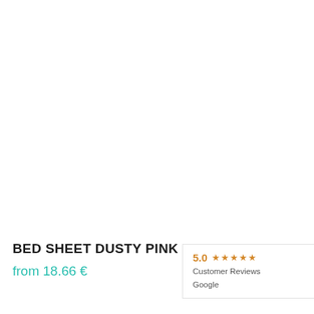BED SHEET DUSTY PINK
from 18.66 €
5.0 ★★★★★ Customer Reviews Google